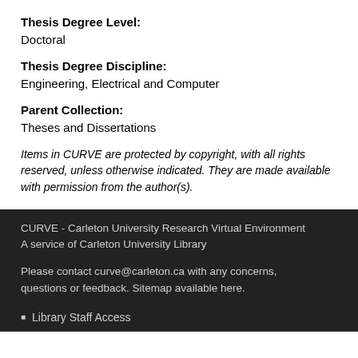Thesis Degree Level:
Doctoral
Thesis Degree Discipline:
Engineering, Electrical and Computer
Parent Collection:
Theses and Dissertations
Items in CURVE are protected by copyright, with all rights reserved, unless otherwise indicated. They are made available with permission from the author(s).
CURVE - Carleton University Research Virtual Environment
A service of Carleton University Library

Please contact curve@carleton.ca with any concerns, questions or feedback. Sitemap available here.
Library Staff Access